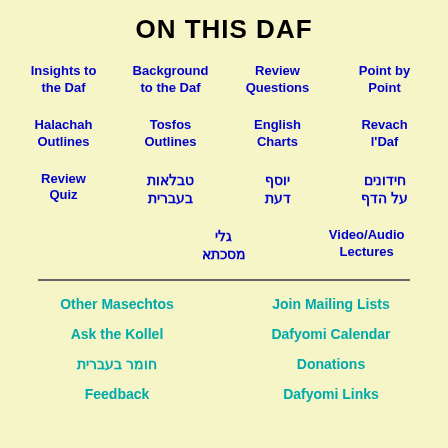ON THIS DAF
Insights to the Daf
Background to the Daf
Review Questions
Point by Point
Halachah Outlines
Tosfos Outlines
English Charts
Revach l'Daf
Review Quiz
טבלאות בעברית
יוסף דעת
חידונים על הדף
גלי מסכתא
Video/Audio Lectures
Other Masechtos
Join Mailing Lists
Ask the Kollel
Dafyomi Calendar
חומר בעברית
Donations
Feedback
Dafyomi Links